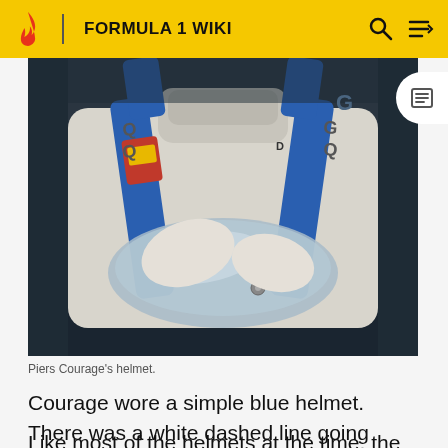FORMULA 1 WIKI
[Figure (photo): Close-up photo of a racing driver's torso in a white racing suit with blue harness straps, partially visible helmet, holding a steering wheel]
Piers Courage's helmet.
Courage wore a simple blue helmet. There was a white dashed line going through the middle of the helmet.
Like most of the helmets at the time, the helmet had no